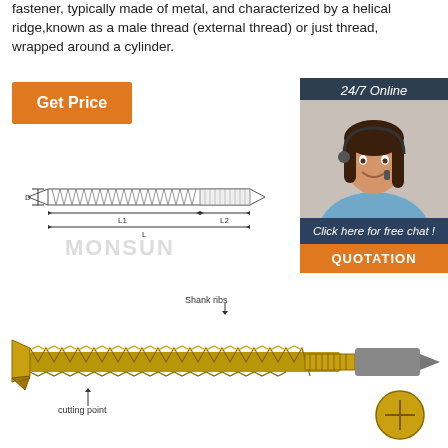fastener, typically made of metal, and characterized by a helical ridge,known as a male thread (external thread) or just thread, wrapped around a cylinder.
[Figure (other): Orange 'Get Price' button]
[Figure (other): 24/7 Online chat widget with photo of woman with headset and QUOTATION button]
[Figure (engineering-diagram): Technical diagram of a screw showing dimensions D, L1, L2, L with shank ribs labeled and MONSUN watermark]
[Figure (photo): Photo of a gold/yellow screw with cutting point labeled, shank ribs labeled, and a circular cross-section view of the screw head]